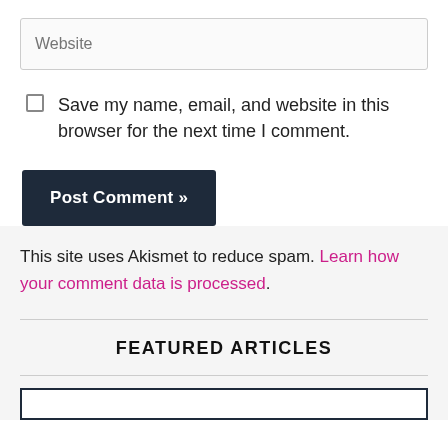Website
Save my name, email, and website in this browser for the next time I comment.
Post Comment »
This site uses Akismet to reduce spam. Learn how your comment data is processed.
FEATURED ARTICLES
[Figure (other): Empty article image box with dark border]